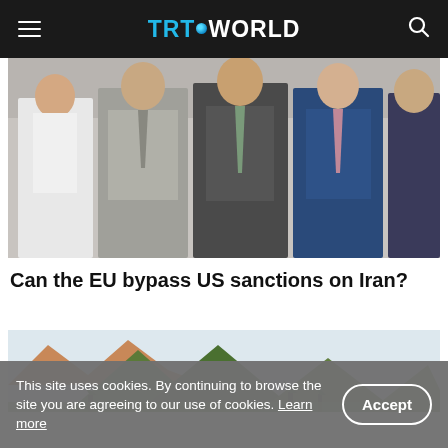TRT WORLD
[Figure (photo): Group of diplomats standing together for a formal photo, including a woman in white jacket and men in suits, with flags in the background]
Can the EU bypass US sanctions on Iran?
[Figure (illustration): Colorful painted mural or illustration of a mountainous landscape with green mountains, trees, and terrain]
This site uses cookies. By continuing to browse the site you are agreeing to our use of cookies. Learn more